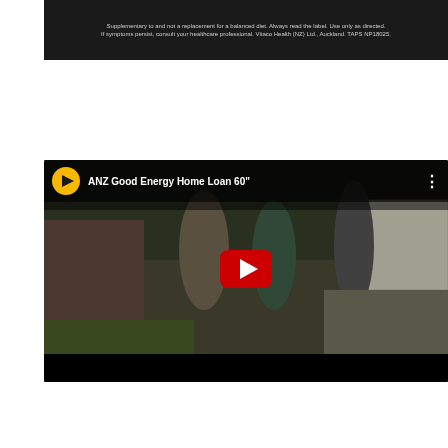[Figure (screenshot): Dark banner screenshot showing small white text: 'Supplementary to and not a replacement for a balanced diet. Always read the label. Use only as directed. If symptoms persist, consult your healthcare professional. Vitaco Health (NZ) Ltd., Auckland. TAPS NP18025.']
[Figure (screenshot): YouTube video embed showing ANZ Good Energy Home Loan 60" advertisement. Black background with YouTube logo (yellow circle with black arrow), title 'ANZ Good Energy Home Loan 60"', three vertical dots menu. Main scene shows three young women/girls standing outside in street, with red YouTube play button overlay in center.]
Tweets from @maddailynz
Follow
MtADI @maddailynz · Jul 17